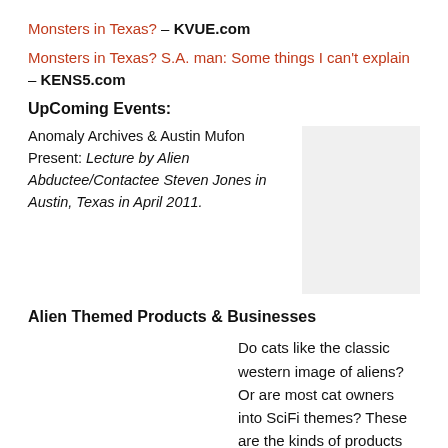Monsters in Texas? – KVUE.com
Monsters in Texas? S.A. man: Some things I can't explain – KENS5.com
UpComing Events:
Anomaly Archives & Austin Mufon Present: Lecture by Alien Abductee/Contactee Steven Jones in Austin, Texas in April 2011.
[Figure (photo): Gray rectangular placeholder image]
Alien Themed Products & Businesses
Do cats like the classic western image of aliens? Or are most cat owners into SciFi themes? These are the kinds of products people tell